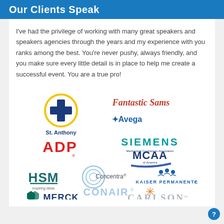Our Clients Speak
I've had the privilege of working with many great speakers and speakers agencies through the years and my experience with you ranks among the best. You're never pushy, always friendly, and you make sure every little detail is in place to help me create a successful event. You are a true pro!
[Figure (logo): Grid of client logos: St. Anthony, Fantastic Sams, Avega, Siemens, ADP, MCAA (Mechanical Contractors Association of America), Concentra, HSM Inspiring ideas, Kaiser Permanente, Conair, Merck, Carlson]